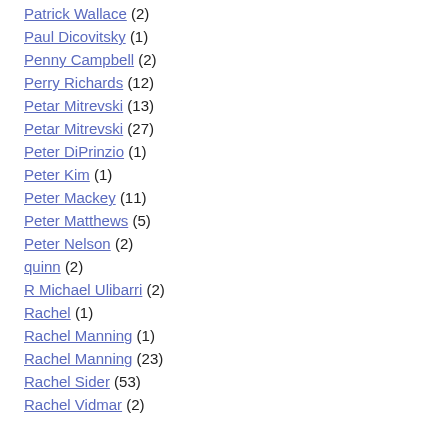Patrick Wallace (2)
Paul Dicovitsky (1)
Penny Campbell (2)
Perry Richards (12)
Petar Mitrevski (13)
Petar Mitrevski (27)
Peter DiPrinzio (1)
Peter Kim (1)
Peter Mackey (11)
Peter Matthews (5)
Peter Nelson (2)
quinn (2)
R Michael Ulibarri (2)
Rachel (1)
Rachel Manning (1)
Rachel Manning (23)
Rachel Sider (53)
Rachel Vidmar (2)